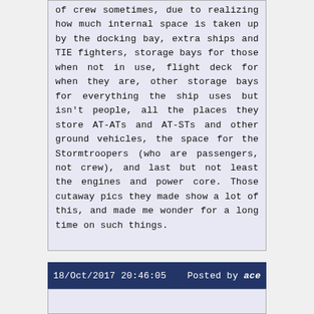of crew sometimes, due to realizing how much internal space is taken up by the docking bay, extra ships and TIE fighters, storage bays for those when not in use, flight deck for when they are, other storage bays for everything the ship uses but isn't people, all the places they store AT-ATs and AT-STs and other ground vehicles, the space for the Stormtroopers (who are passengers, not crew), and last but not least the engines and power core. Those cutaway pics they made show a lot of this, and made me wonder for a long time on such things.
18/Oct/2017 20:46:05   Posted by ace